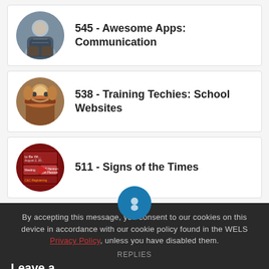545 - Awesome Apps: Communication
538 - Training Techies: School Websites
511 - Signs of the Times
By accepting this message, you consent to our cookies on this device in accordance with our cookie policy found in the WELS Privacy Policy, unless you have disabled them.
REPLIES
Leave a Reply
I AGREE
Send Voicemail
Want to join the discussion?